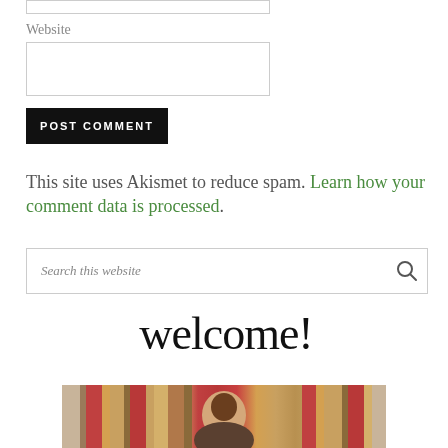[input box - cropped]
Website
[Website input box]
POST COMMENT
This site uses Akismet to reduce spam. Learn how your comment data is processed.
Search this website
[Figure (illustration): Handwritten-style 'welcome!' text in large cursive font]
[Figure (photo): Partial photo of a person sitting in front of striped furniture/pillows]